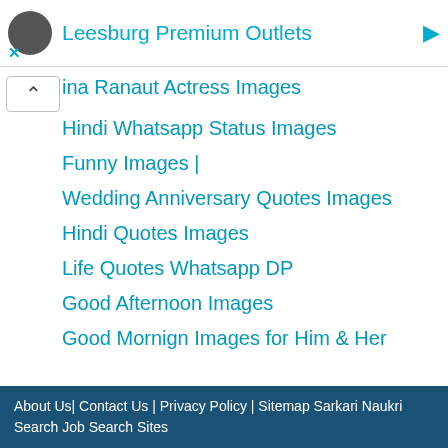Leesburg Premium Outlets
ina Ranaut Actress Images
Hindi Whatsapp Status Images
Funny Images |
Wedding Anniversary Quotes Images
Hindi Quotes Images
Life Quotes Whatsapp DP
Good Afternoon Images
Good Mornign Images for Him & Her
good morning Images
Good Morning Images Download
God Good Night Images
Friendship Wallpaper
NAVRATRI Wallpaper
Durga Puja Images
About Us| Contact Us | Privacy Policy | Sitemap Sarkari Naukri Search Job Search Sites